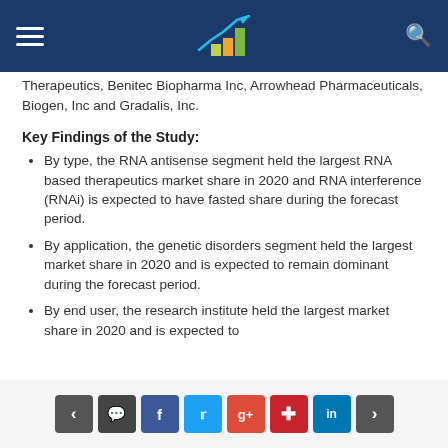Header navigation bar with logo
Therapeutics, Benitec Biopharma Inc, Arrowhead Pharmaceuticals, Biogen, Inc and Gradalis, Inc.
Key Findings of the Study:
By type, the RNA antisense segment held the largest RNA based therapeutics market share in 2020 and RNA interference (RNAi) is expected to have fasted share during the forecast period.
By application, the genetic disorders segment held the largest market share in 2020 and is expected to remain dominant during the forecast period.
By end user, the research institute held the largest market share in 2020 and is expected to
Social sharing buttons: prev, comment, facebook, twitter, google+, pinterest, linkedin, next